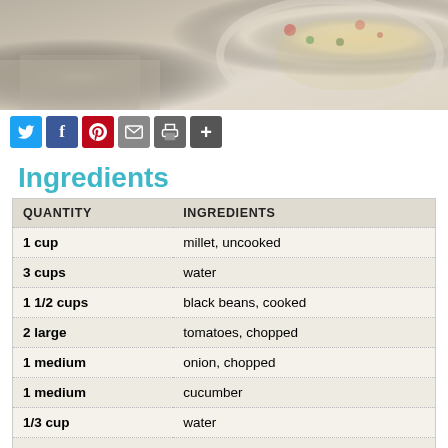[Figure (photo): Top portion of a food photo showing a white bowl with a grain salad (millet with vegetables), with a burlap/linen cloth in the foreground.]
[Figure (infographic): Social sharing bar with Twitter, Facebook, Pinterest, Email, Print, and More (+) buttons.]
Ingredients
| QUANTITY | INGREDIENTS |
| --- | --- |
| 1 cup | millet, uncooked |
| 3 cups | water |
| 1 1/2 cups | black beans, cooked |
| 2 large | tomatoes, chopped |
| 1 medium | onion, chopped |
| 1 medium | cucumber |
| 1/3 cup | water |
| 3 tbsp. | lemon juice |
| 2 tsp. | balsamic vinegar |
| 1 tsp. | garlic, minced |
| 1 tsp. | salt |